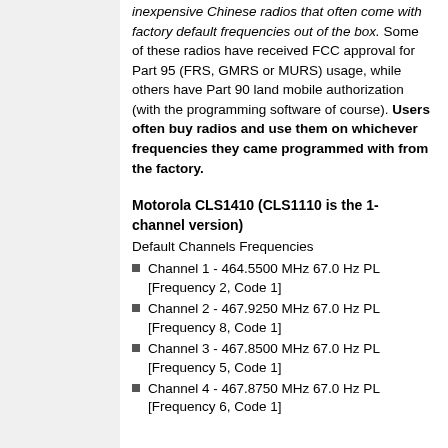inexpensive Chinese radios that often come with factory default frequencies out of the box. Some of these radios have received FCC approval for Part 95 (FRS, GMRS or MURS) usage, while others have Part 90 land mobile authorization (with the programming software of course). Users often buy radios and use them on whichever frequencies they came programmed with from the factory.
Motorola CLS1410 (CLS1110 is the 1-channel version)
Default Channels Frequencies
Channel 1 - 464.5500 MHz 67.0 Hz PL [Frequency 2, Code 1]
Channel 2 - 467.9250 MHz 67.0 Hz PL [Frequency 8, Code 1]
Channel 3 - 467.8500 MHz 67.0 Hz PL [Frequency 5, Code 1]
Channel 4 - 467.8750 MHz 67.0 Hz PL [Frequency 6, Code 1]